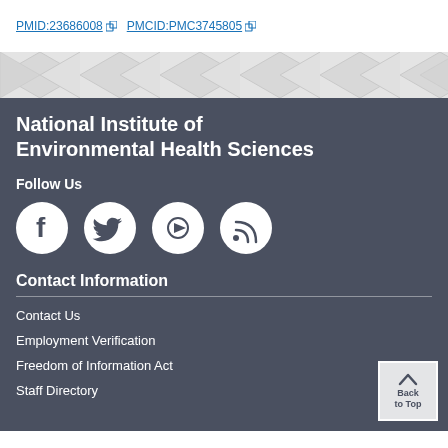PMID:23686008  PMCID:PMC3745805
[Figure (illustration): Decorative diamond/chevron pattern band in light gray]
National Institute of Environmental Health Sciences
Follow Us
[Figure (illustration): Social media icons: Facebook, Twitter, YouTube, RSS]
Contact Information
Contact Us
Employment Verification
Freedom of Information Act
Staff Directory